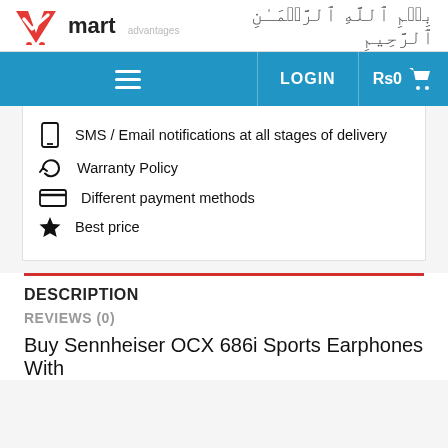[Figure (logo): Vmart logo with red V-checkmark icon and 'mart' text, with Arabic Bismillah calligraphy to the right]
≡  LOGIN  Rs0 🛒
SMS / Email notifications at all stages of delivery
Warranty Policy
Different payment methods
Best price
DESCRIPTION
REVIEWS (0)
Buy Sennheiser OCX 686i Sports Earphones With